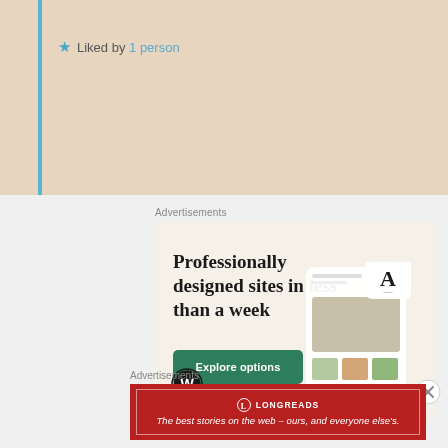★ Liked by 1 person
Advertisements
[Figure (infographic): WordPress advertisement: 'Professionally designed sites in less than a week' with green 'Explore options' button, WordPress logo, and phone mockup showing websites]
Advertisements
[Figure (infographic): Longreads advertisement: red background with Longreads logo and tagline 'The best stories on the web – ours, and everyone else's.']